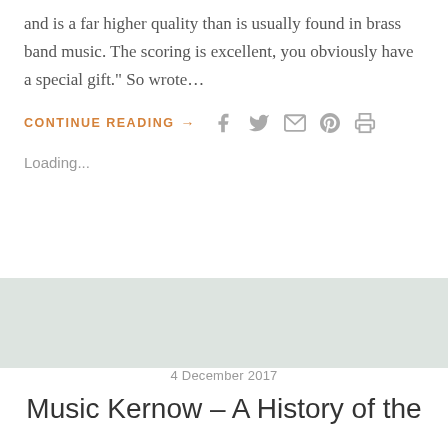and is a far higher quality than is usually found in brass band music. The scoring is excellent, you obviously have a special gift.” So wrote…
CONTINUE READING →
Loading...
4 December 2017
Music Kernow – A History of the